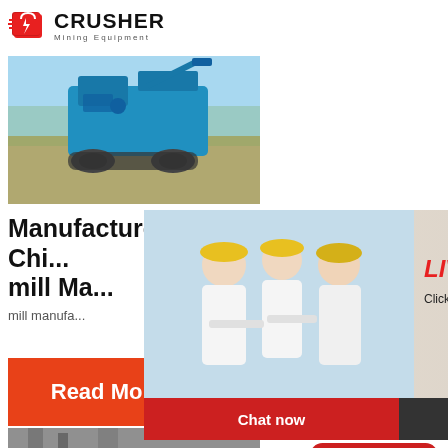[Figure (logo): Crusher Mining Equipment logo with red shopping bag icon and bold black CRUSHER text]
[Figure (photo): Blue mining crusher machine on outdoor terrain]
Manufacturers & Suppliers, Chi... mill Ma...
mill manufa...
[Figure (photo): Live Chat popup overlay with workers in yellow hard hats and a customer service representative with headset. Shows LIVE CHAT and Click for a Free Consultation text, with Chat now and Chat later buttons.]
[Figure (photo): Industrial building/factory image]
Hamm... Crush...
[Figure (infographic): Right sidebar showing customer support representative with headset, Need questions & suggestion?, Chat Now button, Enquiry section, and limingjlmofen@sina.com email]